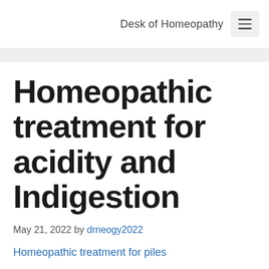Desk of Homeopathy ☰
Homeopathic treatment for acidity and Indigestion
May 21, 2022 by drneogy2022
Homeopathic treatment for piles